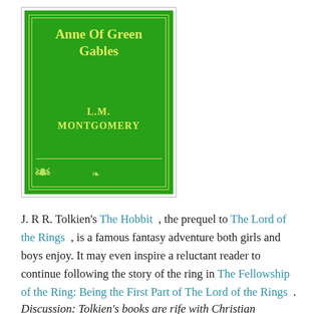[Figure (illustration): Book cover of 'Anne Of Green Gables' by L.M. Montgomery. Green background with yellow-green decorative border, title and author name in yellow-green text, with floral flourishes at the bottom corners.]
J. R R. Tolkien's The Hobbit , the prequel to The Lord of the Rings , is a famous fantasy adventure both girls and boys enjoy. It may even inspire a reluctant reader to continue following the story of the ring in The Fellowship of the Ring: Being the First Part of The Lord of the Rings .
Discussion: Tolkien's books are rife with Christian